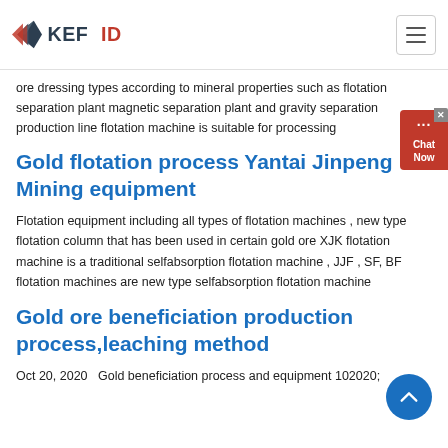KEFID
ore dressing types according to mineral properties such as flotation separation plant magnetic separation plant and gravity separation production line flotation machine is suitable for processing
Gold flotation process Yantai Jinpeng Mining equipment
Flotation equipment including all types of flotation machines , new type flotation column that has been used in certain gold ore XJK flotation machine is a traditional selfabsorption flotation machine , JJF , SF, BF flotation machines are new type selfabsorption flotation machine
Gold ore beneficiation production process,leaching method
Oct 20, 2020  Gold beneficiation process and equipment 102020;